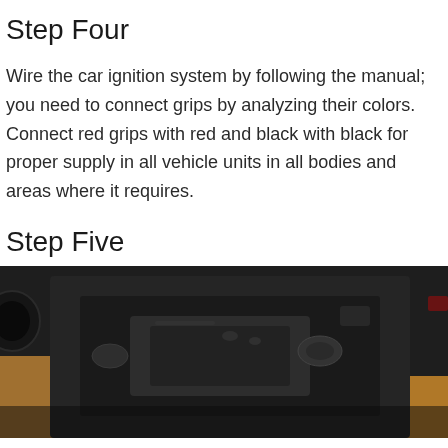Step Four
Wire the car ignition system by following the manual; you need to connect grips by analyzing their colors. Connect red grips with red and black with black for proper supply in all vehicle units in all bodies and areas where it requires.
Step Five
[Figure (photo): Photo of a black ride-on toy car chassis interior, showing battery compartment or electronics bay, dark plastic components visible, wooden floor in background]